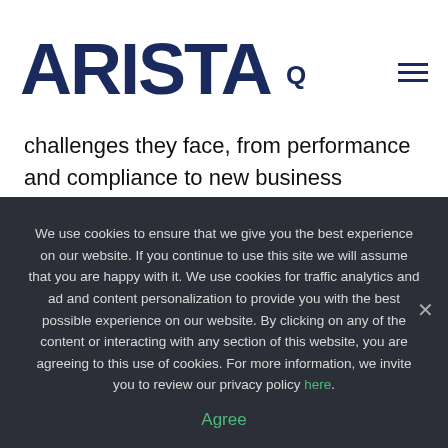[Figure (logo): Arista Networks logo in dark navy blue, large bold text 'ARISTA' with a small registered trademark style, search icon and hamburger menu icon on the right]
challenges they face, from performance and compliance to new business initiatives. Those teams report many benefits:
Improved uptime 46%
Reduced security risk 43%
Security team productivity 36%
We use cookies to ensure that we give you the best experience on our website. If you continue to use this site we will assume that you are happy with it. We use cookies for traffic analytics and ad and content personalization to provide you with the best possible experience on our website. By clicking on any of the content or interacting with any section of this website, you are agreeing to this use of cookies. For more information, we invite you to review our privacy policy here.
Agree